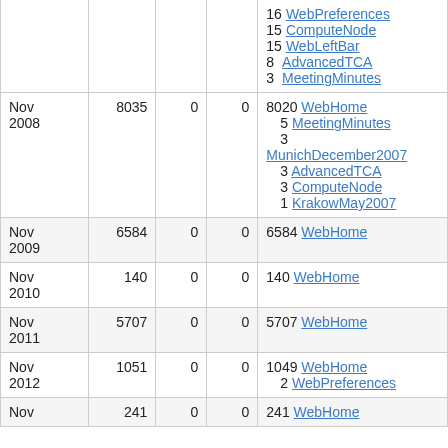| Month | Views | Col3 | Col4 | Top pages |
| --- | --- | --- | --- | --- |
|  |  |  |  | 16 WebPreferences
15 ComputeNode
15 WebLeftBar
8 AdvancedTCA
3 MeetingMinutes |
| Nov 2008 | 8035 | 0 | 0 | 8020 WebHome
5 MeetingMinutes
3 MunichDecember2007
3 AdvancedTCA
3 ComputeNode
1 KrakowMay2007 |
| Nov 2009 | 6584 | 0 | 0 | 6584 WebHome |
| Nov 2010 | 140 | 0 | 0 | 140 WebHome |
| Nov 2011 | 5707 | 0 | 0 | 5707 WebHome |
| Nov 2012 | 1051 | 0 | 0 | 1049 WebHome
2 WebPreferences |
| Nov | 241 | 0 | 0 | 241 WebHome |